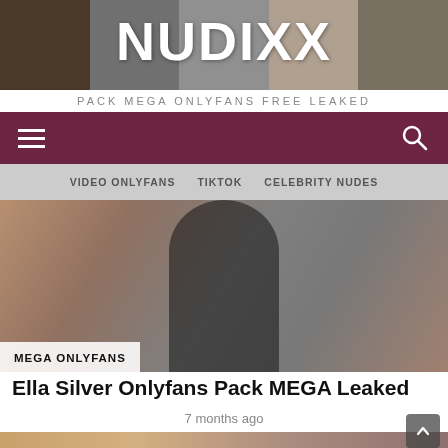[Figure (photo): NUDIXX website header banner showing collage of images with large white text 'NUDIXX' overlaid and subtitle 'PACK MEGA ONLYFANS FREE LEAKED' below]
PACK MEGA ONLYFANS FREE LEAKED
[Figure (screenshot): Dark maroon navigation bar with hamburger menu icon on left and search icon on right]
VIDEO ONLYFANS   TIKTOK   CELEBRITY NUDES
[Figure (photo): Hero image showing a person from behind with a label 'MEGA ONLYFANS' in bottom left corner]
Ella Silver Onlyfans Pack MEGA Leaked
7 months ago
[Figure (photo): Partial photo visible at bottom of page showing a person with tattoos and blonde hair]